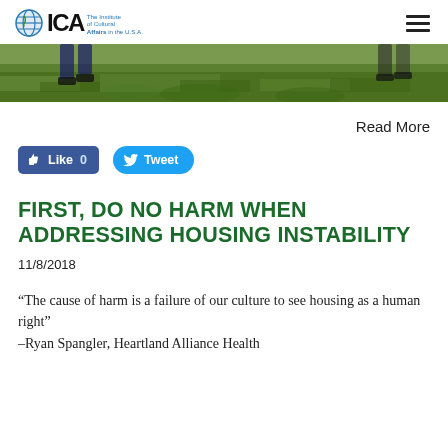ICA — The Institute of Cultural Affairs in the U.S.A.
[Figure (photo): Outdoor photo showing grass and people's legs/feet, landscape orientation, partial view]
Read More
[Figure (infographic): Facebook Like button showing 'Like 0' and Twitter Tweet button]
FIRST, DO NO HARM WHEN ADDRESSING HOUSING INSTABILITY
11/8/2018
“The cause of harm is a failure of our culture to see housing as a human right”
–Ryan Spangler, Heartland Alliance Health